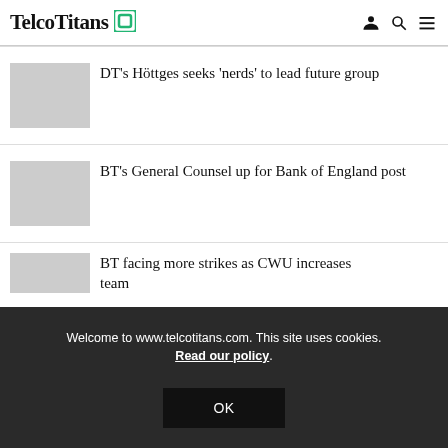TelcoTitans
DT's Höttges seeks ‘nerds’ to lead future group
BT's General Counsel up for Bank of England post
BT facing more strikes as CWU increases team
Welcome to www.telcotitans.com. This site uses cookies. Read our policy.
OK